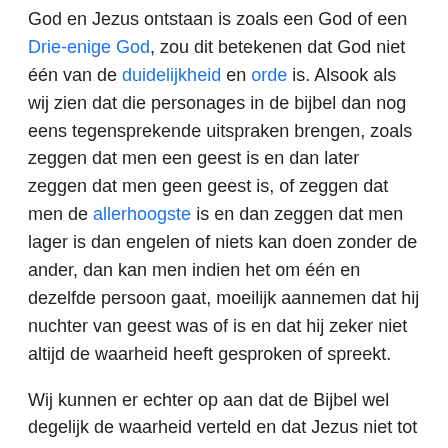God en Jezus ontstaan is zoals een God of een Drie-enige God, zou dit betekenen dat God niet één van de duidelijkheid en orde is. Alsook als wij zien dat die personages in de bijbel dan nog eens tegensprekende uitspraken brengen, zoals zeggen dat men een geest is en dan later zeggen dat men geen geest is, of zeggen dat men de allerhoogste is en dan zeggen dat men lager is dan engelen of niets kan doen zonder de ander, dan kan men indien het om één en dezelfde persoon gaat, moeilijk aannemen dat hij nuchter van geest was of is en dat hij zeker niet altijd de waarheid heeft gesproken of spreekt.
Wij kunnen er echter op aan dat de Bijbel wel degelijk de waarheid verteld en dat Jezus niet tot zichzelf bidt maar werkelijk tot iemand anders bidt die in de hemel is.
Geen eeuwige zondaars